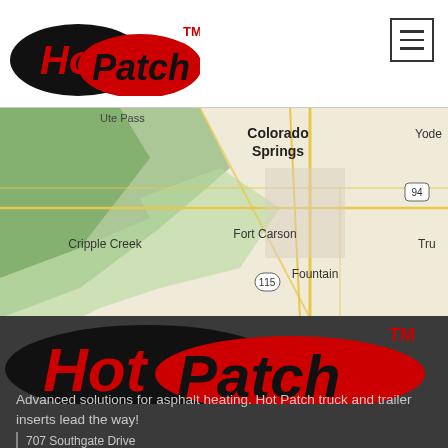[Figure (logo): Hot Patch logo in header: black oval with red italic 'Hot' text, overlapping red oval with black italic 'Patch' text, TM superscript]
[Figure (map): Google Maps screenshot showing Colorado Springs area with Fort Carson, Fountain, Cripple Creek, highway markers 94 and 115, and partial labels Yode and Tru at right edge]
[Figure (logo): Large Hot Patch logo on dark background: black oval with red italic 'Hot' text, overlapping red oval with black italic 'Patch' text, TM superscript in red]
Advanced solutions for asphalt heating. Hot Patch truck and trailer inserts lead the way!
707 Southgate Drive